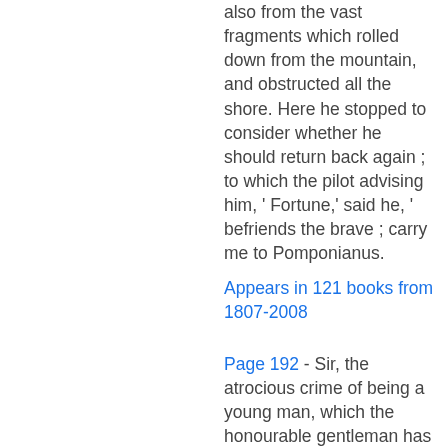also from the vast fragments which rolled down from the mountain, and obstructed all the shore. Here he stopped to consider whether he should return back again ; to which the pilot advising him, ' Fortune,' said he, ' befriends the brave ; carry me to Pomponianus.
Appears in 121 books from 1807-2008
Page 192 - Sir, the atrocious crime of being a young man, which the honourable gentleman has with such spirit and decency charged upon me, I shall neither attempt to palliate nor deny, but content myself